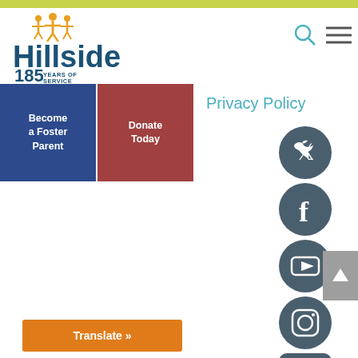[Figure (logo): Hillside 185 Years of Service logo with figures icon]
[Figure (illustration): Search icon (magnifying glass) and hamburger menu icon in header]
Become a Foster Parent
Donate Today
Privacy Policy
[Figure (illustration): Social media icons stacked vertically: Twitter, Facebook, YouTube, Instagram, LinkedIn, STAFF]
[Figure (illustration): Back to top arrow button]
Translate »